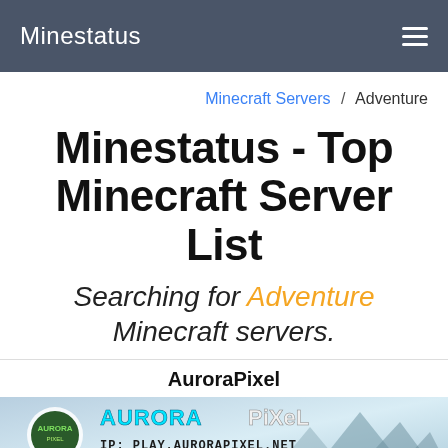Minestatus
Minecraft Servers / Adventure
Minestatus - Top Minecraft Server List
Searching for Adventure Minecraft servers.
AuroraPixel
[Figure (screenshot): AuroraPixel Minecraft server banner image showing the AuroraPixel logo with mountains background, IP: PLAY.AURORAPIXEL.NET, with a black bar showing 'play.aurorapixel.net' and a green 'Copy' button]